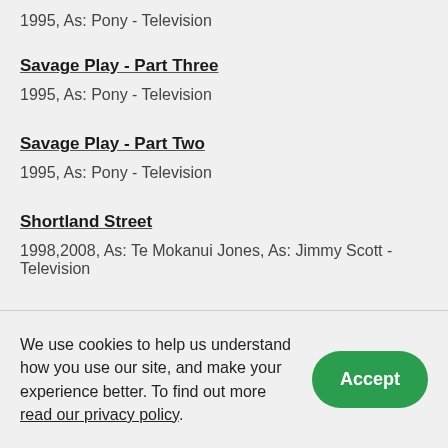1995, As: Pony - Television
Savage Play - Part Three
1995, As: Pony - Television
Savage Play - Part Two
1995, As: Pony - Television
Shortland Street
1998,2008, As: Te Mokanui Jones, As: Jimmy Scott - Television
We use cookies to help us understand how you use our site, and make your experience better. To find out more read our privacy policy.